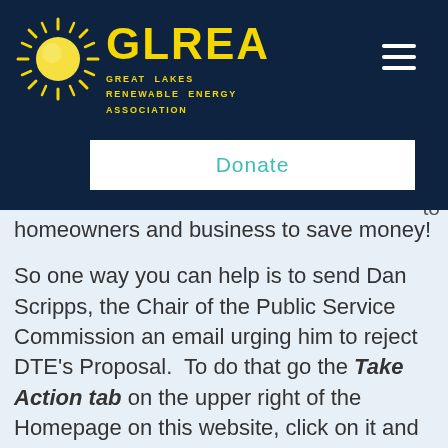[Figure (logo): GLREA Great Lakes Renewable Energy Association logo with yellow sun and text on dark navy background]
Donate
homeowners and business to save money!
So one way you can help is to send Dan Scripps, the Chair of the Public Service Commission an email urging him to reject DTE's Proposal. To do that go the Take Action tab on the upper right of the Homepage on this website, click on it and follow the directions to send an email. There is already a draft email you can use but you can add any